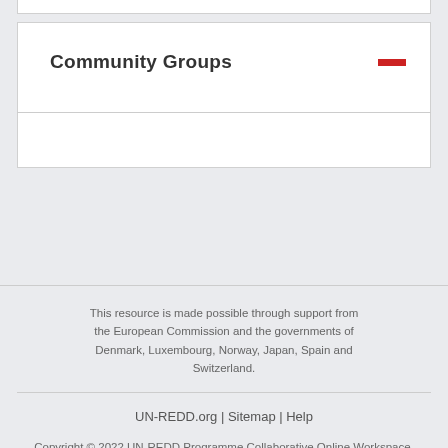Community Groups
This resource is made possible through support from the European Commission and the governments of Denmark, Luxembourg, Norway, Japan, Spain and Switzerland.
UN-REDD.org | Sitemap | Help
Copyright © 2022 UN-REDD Programme Collaborative Online Workspace. All Rights Reserved.